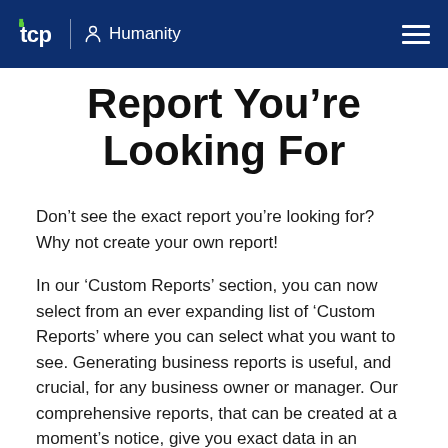tcp | Humanity
Report You’re Looking For
Don’t see the exact report you’re looking for? Why not create your own report!
In our ‘Custom Reports’ section, you can now select from an ever expanding list of ‘Custom Reports’ where you can select what you want to see. Generating business reports is useful, and crucial, for any business owner or manager. Our comprehensive reports, that can be created at a moment’s notice, give you exact data in an intuitive and